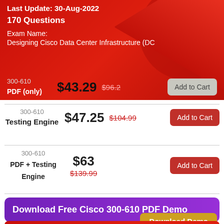Last Update: 30-Aug-2022
170 Questions
Exam Name:
Designing Cisco Data Center Infrastructure (DC...
300-610 PDF (only) $43.29 $96.2 Add to Cart
300-610 Testing Engine $47.25 $104.99 Add to Cart
300-610 PDF + Testing Engine $63 $139.99 Add to Cart
Download Free Cisco 300-610 PDF Demo
Download Demo
Pr 300-610 E...